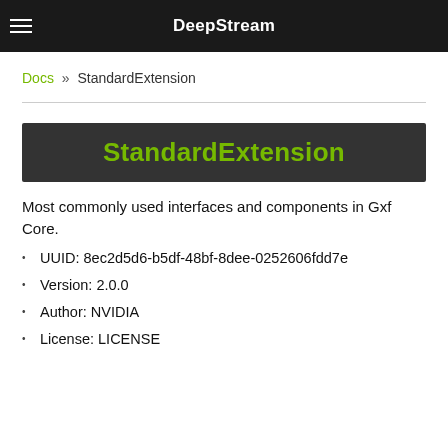DeepStream
Docs » StandardExtension
StandardExtension
Most commonly used interfaces and components in Gxf Core.
UUID: 8ec2d5d6-b5df-48bf-8dee-0252606fdd7e
Version: 2.0.0
Author: NVIDIA
License: LICENSE